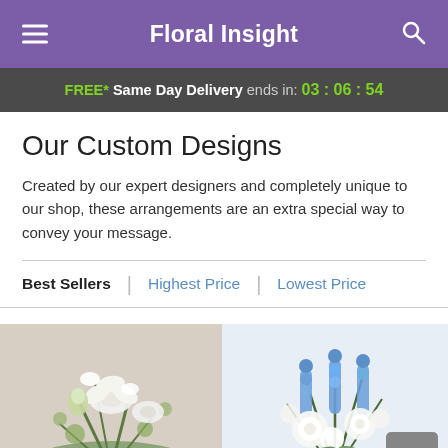Floral Insight
FREE* Same Day Delivery ends in: 03 : 06 : 54
Our Custom Designs
Created by our expert designers and completely unique to our shop, these arrangements are an extra special way to convey your message.
Best Sellers | Highest Price | Lowest Price
[Figure (photo): Arrangement of white lilies and greenery on a neutral background]
[Figure (photo): Arrangement of blue and white flowers including roses and delphinium]